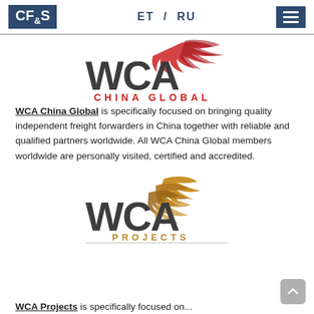CF&S  ET / RU
[Figure (logo): WCA China Global logo — large bold grey WCA text with red bird/swoosh graphic, red 'CHINA GLOBAL' subtitle, underline]
WCA China Global is specifically focused on bringing quality independent freight forwarders in China together with reliable and qualified partners worldwide. All WCA China Global members worldwide are personally visited, certified and accredited.
[Figure (logo): WCA Projects logo — large bold grey WCA text with gold/brown bird flock graphic, gold 'PROJECTS' subtitle, underline]
WCA Projects is specifically focused on...